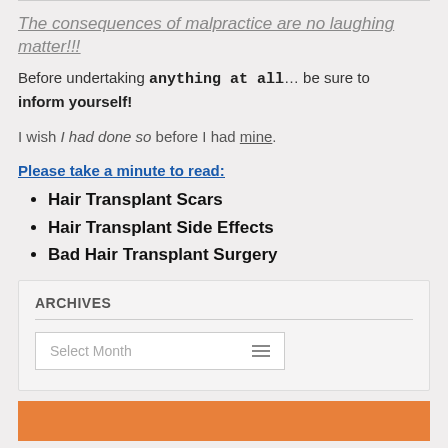The consequences of malpractice are no laughing matter!!!
Before undertaking anything at all… be sure to inform yourself!
I wish I had done so before I had mine.
Please take a minute to read:
Hair Transplant Scars
Hair Transplant Side Effects
Bad Hair Transplant Surgery
ARCHIVES
Select Month